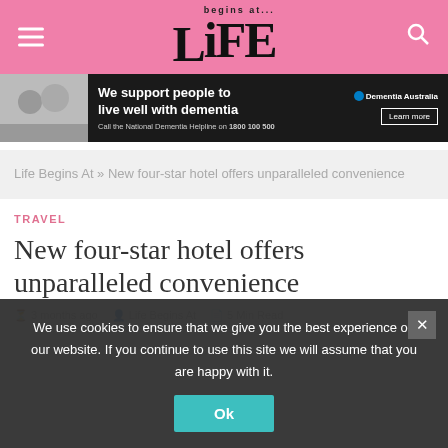Life Begins At — website header with hamburger menu and search icon
[Figure (screenshot): Dementia Australia advertisement banner: 'We support people to live well with dementia. Call the National Dementia Helpline on 1800 100 500. Learn more.']
Life Begins At » New four-star hotel offers unparalleled convenience
TRAVEL
New four-star hotel offers unparalleled convenience
3 months ago  Life Begins At  5 Min Read
We use cookies to ensure that we give you the best experience on our website. If you continue to use this site we will assume that you are happy with it.